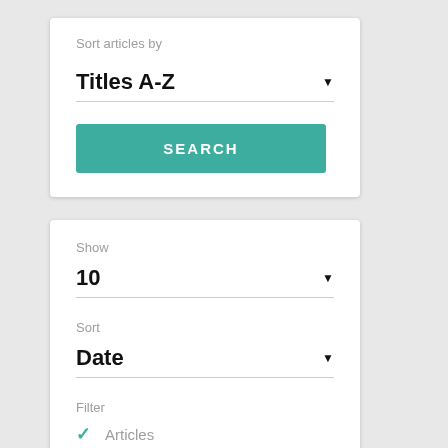Sort articles by
Titles A-Z
[Figure (screenshot): SEARCH button in teal/green color]
Show
10
Sort
Date
Filter
Articles
Book Review